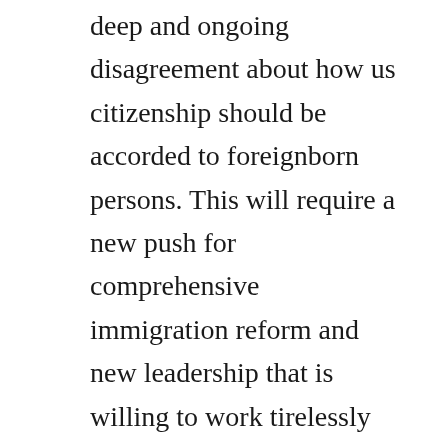deep and ongoing disagreement about how us citizenship should be accorded to foreignborn persons. This will require a new push for comprehensive immigration reform and new leadership that is willing to work tirelessly until it is. How immigration became so controversial the atlantic. Citizenship and immigration services temporarily suspended inperson services at its field offices, asylum offices, and application support centers ascs to help slow the spread of coronavirus covid19. Reforming the us immigration system to promote growth. Brief history of